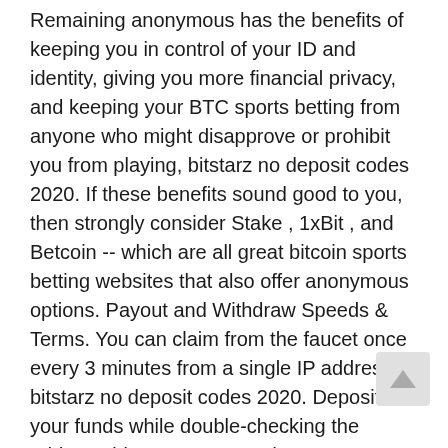Remaining anonymous has the benefits of keeping you in control of your ID and identity, giving you more financial privacy, and keeping your BTC sports betting from anyone who might disapprove or prohibit you from playing, bitstarz no deposit codes 2020. If these benefits sound good to you, then strongly consider Stake , 1xBit , and Betcoin -- which are all great bitcoin sports betting websites that also offer anonymous options. Payout and Withdraw Speeds & Terms. You can claim from the faucet once every 3 minutes from a single IP address, bitstarz no deposit codes 2020. Deposit your funds while double-checking the address, bitstarz promo codes 2020. Utilisateur: bitstarz bitcoin casino para yatırma bonusu yok codes 2021, bitstarz bitcoin casino bonus senza deposito. Bitstarz casino is among the best on. User: bitstarz casino para yatırma bonusu yok code 2021, bitstarz casino no